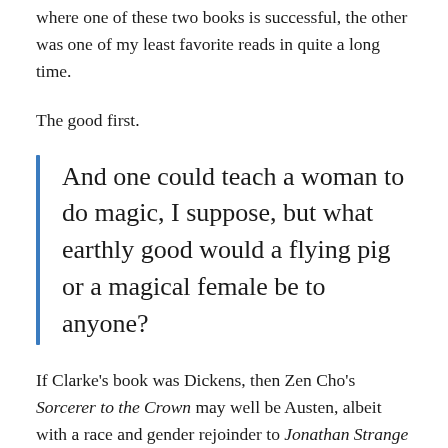where one of these two books is successful, the other was one of my least favorite reads in quite a long time.
The good first.
And one could teach a woman to do magic, I suppose, but what earthly good would a flying pig or a magical female be to anyone?
If Clarke’s book was Dickens, then Zen Cho’s Sorcerer to the Crown may well be Austen, albeit with a race and gender rejoinder to Jonathan Strange and Mr. Norrell. The era remains Georgian England during the Napoleonic War, and magic flows into the country from the Fairyland. This time, magic is governed by the Royal Society of